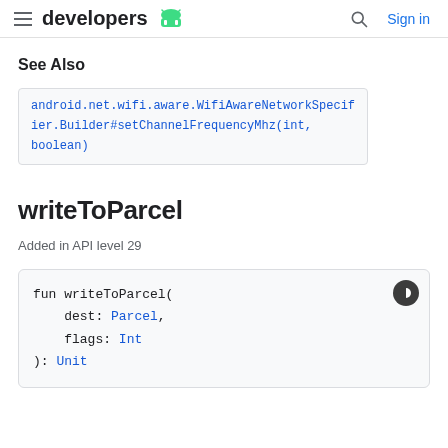developers | Sign in
See Also
android.net.wifi.aware.WifiAwareNetworkSpecifier.Builder#setChannelFrequencyMhz(int, boolean)
writeToParcel
Added in API level 29
fun writeToParcel(
    dest: Parcel,
    flags: Int
): Unit